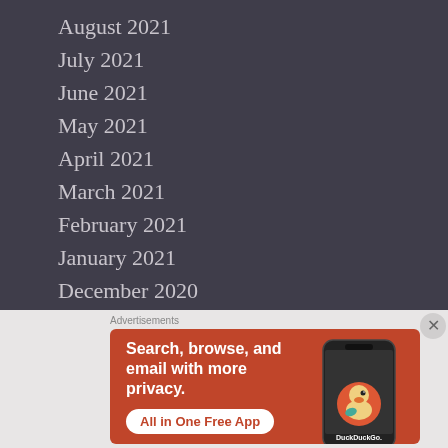August 2021
July 2021
June 2021
May 2021
April 2021
March 2021
February 2021
January 2021
December 2020
November 2020
[Figure (screenshot): DuckDuckGo advertisement banner: orange background with text 'Search, browse, and email with more privacy. All in One Free App' and a phone image showing DuckDuckGo app logo.]